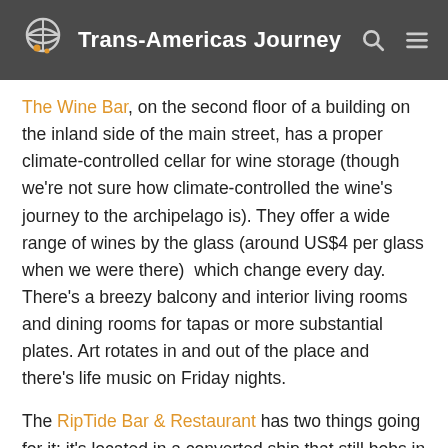Trans-Americas Journey
The Wine Bar, on the second floor of a building on the inland side of the main street, has a proper climate-controlled cellar for wine storage (though we're not sure how climate-controlled the wine's journey to the archipelago is). They offer a wide range of wines by the glass (around US$4 per glass when we were there) which change every day. There's a breezy balcony and interior living rooms and dining rooms for tapas or more substantial plates. Art rotates in and out of the place and there's life music on Friday nights.
The RipTide Bar & Restaurant has two things going for it: it's located in a converted ship that still bobs in the water and they offer things like "chicken fried steak and Texas